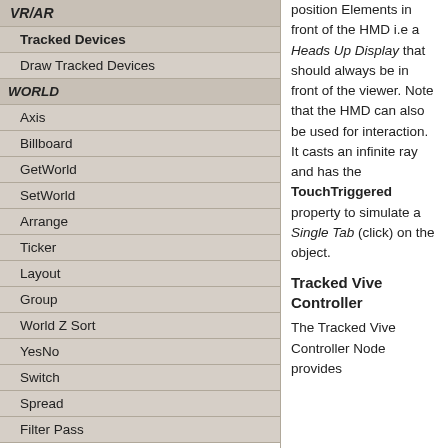| VR/AR |
| Tracked Devices |
| Draw Tracked Devices |
| WORLD |
| Axis |
| Billboard |
| GetWorld |
| SetWorld |
| Arrange |
| Ticker |
| Layout |
| Group |
| World Z Sort |
| YesNo |
| Switch |
| Spread |
| Filter Pass |
position Elements in front of the HMD i.e a Heads Up Display that should always be in front of the viewer. Note that the HMD can also be used for interaction. It casts an infinite ray and has the TouchTriggered property to simulate a Single Tab (click) on the object.
Tracked Vive Controller
The Tracked Vive Controller Node provides